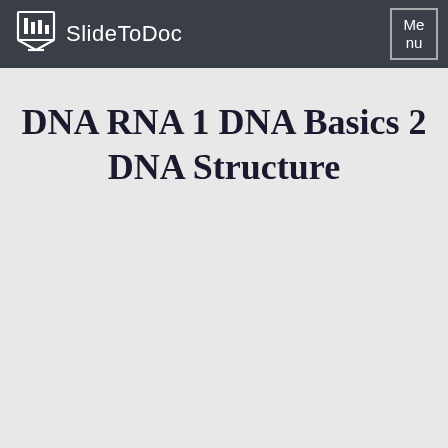SlideToDoc
DNA RNA 1 DNA Basics 2 DNA Structure